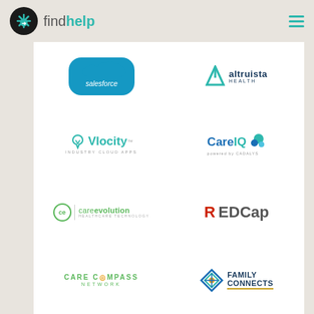[Figure (logo): findhelp logo with black circle icon and teal 'help' text]
[Figure (logo): Salesforce cloud logo in blue]
[Figure (logo): Altruista Health logo with teal A icon]
[Figure (logo): Vlocity logo with teal cloud icon and text]
[Figure (logo): CareIQ powered by CADALYS logo]
[Figure (logo): careevolution healthcare technology logo]
[Figure (logo): REDCap logo with red R]
[Figure (logo): CARE COMPASS NETWORK logo in green]
[Figure (logo): FAMILY CONNECTS logo with diamond icon]